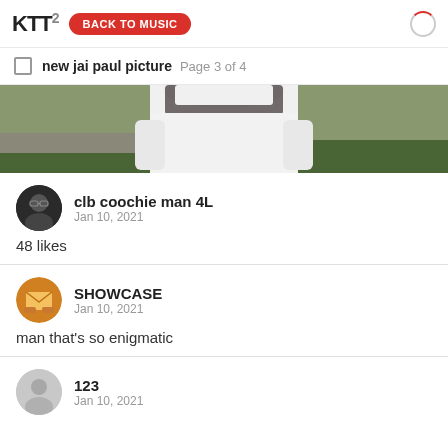KTT2  BACK TO MUSIC
new jai paul picture  Page 3 of 4
[Figure (photo): Partial photo of a person wearing a white hoodie, shot from below the head, with green grass in the background]
clb coochie man 4L
Jan 10, 2021
48 likes
SHOWCASE
Jan 10, 2021
man that's so enigmatic
123
Jan 10, 2021